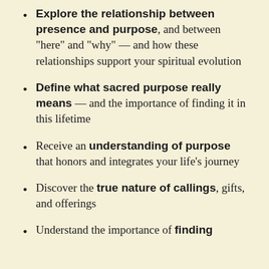Explore the relationship between presence and purpose, and between “here” and “why” — and how these relationships support your spiritual evolution
Define what sacred purpose really means — and the importance of finding it in this lifetime
Receive an understanding of purpose that honors and integrates your life’s journey
Discover the true nature of callings, gifts, and offerings
Understand the importance of finding purpose and integrating that ...